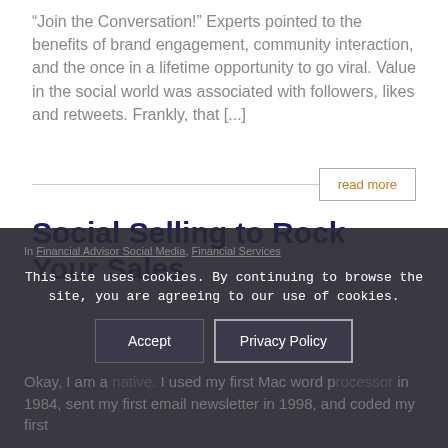“Join the Conversation!” Experts pointed to the benefits of brand engagement, community interaction, and the once in a lifetime opportunity to go viral. Value in the social world was associated with followers, likes and retweets. Frankly, that [...]
read more
Social Selling to Rock Your Sales
In Financial Advisor Social Media, Financial Services
This site uses cookies. By continuing to browse the site, you are agreeing to our use of cookies.
Okay, I am a native. I used my first Mac word processor in 1984, sent my first email newsletter in 1998, and coded my first
Accept
Privacy Policy